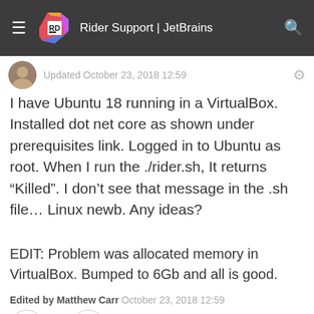Rider Support | JetBrains
Updated October 23, 2018 12:59
I have Ubuntu 18 running in a VirtualBox. Installed dot net core as shown under prerequisites link. Logged in to Ubuntu as root. When I run the ./rider.sh, It returns “Killed”. I don’t see that message in the .sh file… Linux newb. Any ideas?
EDIT: Problem was allocated memory in VirtualBox. Bumped to 6Gb and all is good.
Edited by Matthew Carr October 23, 2018 12:59
Richard Jackson